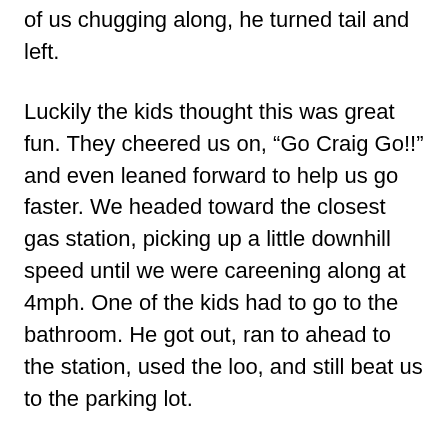of us chugging along, he turned tail and left.
Luckily the kids thought this was great fun. They cheered us on, “Go Craig Go!!” and even leaned forward to help us go faster. We headed toward the closest gas station, picking up a little downhill speed until we were careening along at 4mph. One of the kids had to go to the bathroom. He got out, ran to ahead to the station, used the loo, and still beat us to the parking lot.
The kids weren’t particularly stressed or upset. Maybe it was because the heat and the stereo were working. So we were cozy and had our tunes blasting. Maybe it was because they could see the humor in the situation—Craig talking to the engine, urging her on like a racehorse. But I think mostly because St. Joseph’s is a safe place.